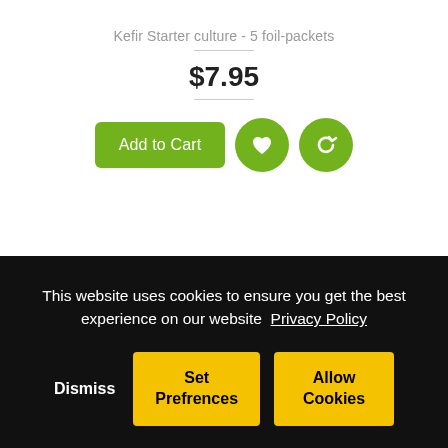Kefir Starter culture - 5 foil-packets
$7.95
Add to Cart
This website uses cookies to ensure you get the best experience on our website  Privacy Policy
Dismiss
Set Prefrences
Allow Cookies